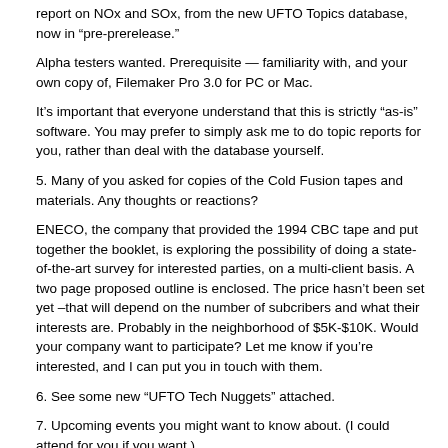report on NOx and SOx, from the new UFTO Topics database, now in “pre-prerelease.”
Alpha testers wanted. Prerequisite — familiarity with, and your own copy of, Filemaker Pro 3.0 for PC or Mac.
It’s important that everyone understand that this is strictly “as-is” software. You may prefer to simply ask me to do topic reports for you, rather than deal with the database yourself.
5. Many of you asked for copies of the Cold Fusion tapes and materials. Any thoughts or reactions?
ENECO, the company that provided the 1994 CBC tape and put together the booklet, is exploring the possibility of doing a state-of-the-art survey for interested parties, on a multi-client basis. A two page proposed outline is enclosed. The price hasn’t been set yet –that will depend on the number of subcribers and what their interests are. Probably in the neighborhood of $5K-$10K. Would your company want to participate? Let me know if you’re interested, and I can put you in touch with them.
6. See some new “UFTO Tech Nuggets” attached.
7. Upcoming events you might want to know about. (I could attend for you if you want.)